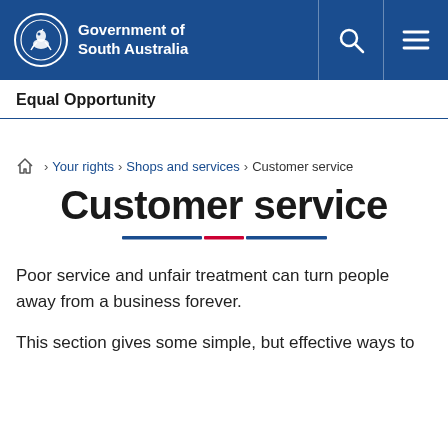Government of South Australia
Equal Opportunity
Home > Your rights > Shops and services > Customer service
Customer service
Poor service and unfair treatment can turn people away from a business forever.
This section gives some simple, but effective ways to